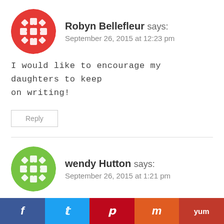Robyn Bellefleur says: September 26, 2015 at 12:23 pm
I would like to encourage my daughters to keep on writing!
Reply
wendy Hutton says: September 26, 2015 at 1:21 pm
I would like to encourage any teenager, they use
f  t  p  m  yum